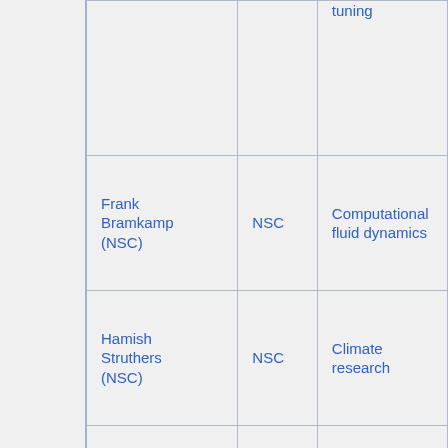|  |  | tuning |
| Frank Bramkamp (NSC) | NSC | Computational fluid dynamics |
| Hamish Struthers (NSC) | NSC | Climate research |
| Henric Zazzi (PDC) | PDC | Bioinformatics |
| Jens Larsson (NSC) | NSC | Swestore |
| Jerry |  | Parallel |